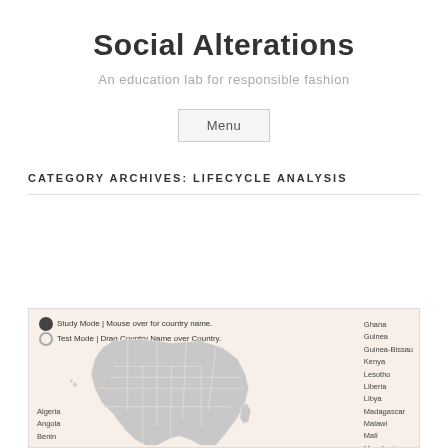Social Alterations
An education lab for responsible fashion
Menu
CATEGORY ARCHIVES: LIFECYCLE ANALYSIS
[Figure (map): Interactive map of Africa with Study Mode and Test Mode radio buttons, a list of African country names on the right side, and country name labels at the bottom left (Algeria, Angola, Benin). Country list visible: Ghana, Guinea, Guinea-Bissau, Kenya, Lesotho, Liberia, Libya, Madagascar, Malawi, Mali, Mauritania, Morocco, Mozambique, Namibia]